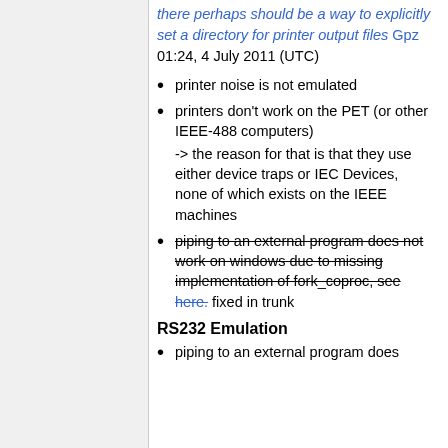there perhaps should be a way to explicitly set a directory for printer output files Gpz 01:24, 4 July 2011 (UTC)
printer noise is not emulated
printers don't work on the PET (or other IEEE-488 computers) -> the reason for that is that they use either device traps or IEC Devices, none of which exists on the IEEE machines
piping to an external program does not work on windows due to missing implementation of fork_coproc, see here. fixed in trunk
RS232 Emulation
piping to an external program does